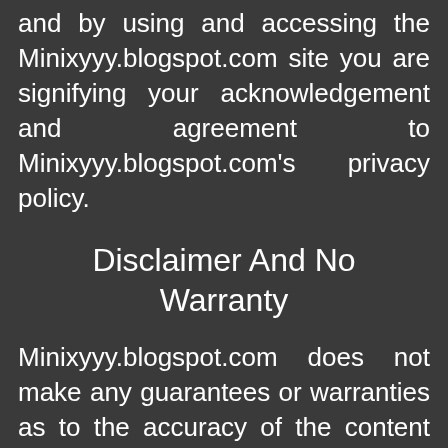and by using and accessing the Minixyyy.blogspot.com site you are signifying your acknowledgement and agreement to Minixyyy.blogspot.com's privacy policy.
Disclaimer And No Warranty
Minixyyy.blogspot.com does not make any guarantees or warranties as to the accuracy of the content and profiles or messages. Minixyyy.blogspot.com is not liable for any opinions expressed on the site...